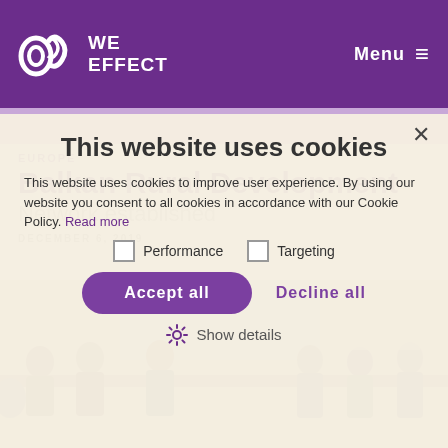WE EFFECT  Menu ≡
This website uses cookies
This website uses cookies to improve user experience. By using our website you consent to all cookies in accordance with our Cookie Policy. Read more
Performance
Targeting
Accept all   Decline all
Show details
EUROPE
Balkan Rural Development Network established
DECEMBER 6, 2019
[Figure (photo): People seated at conference tables in a meeting room]